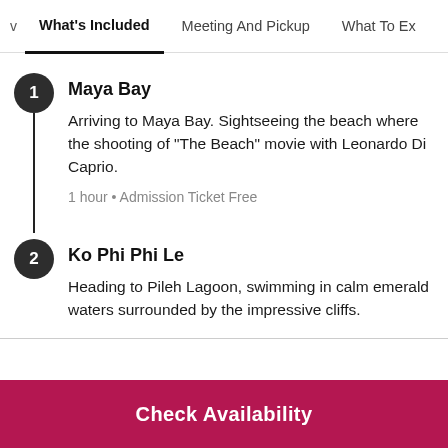What's Included | Meeting And Pickup | What To Ex...
Maya Bay
Arriving to Maya Bay. Sightseeing the beach where the shooting of "The Beach" movie with Leonardo Di Caprio.
1 hour • Admission Ticket Free
Ko Phi Phi Le
Heading to Pileh Lagoon, swimming in calm emerald waters surrounded by the impressive cliffs.
Check Availability